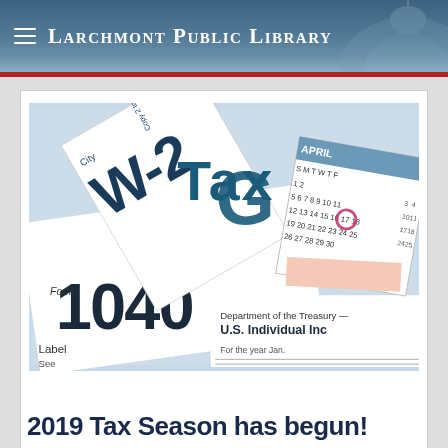Larchmont Public Library
[Figure (photo): Close-up photo of U.S. tax forms including Form W-2, Form 1040 (U.S. Individual Income Tax Return, Department of the Treasury), and an April calendar with the 15th circled in red/pink marker.]
2019 Tax Season has begun!